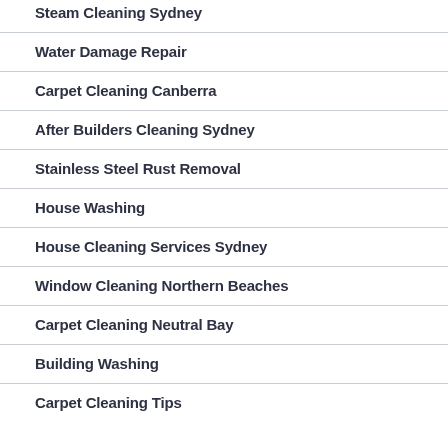Steam Cleaning Sydney
Water Damage Repair
Carpet Cleaning Canberra
After Builders Cleaning Sydney
Stainless Steel Rust Removal
House Washing
House Cleaning Services Sydney
Window Cleaning Northern Beaches
Carpet Cleaning Neutral Bay
Building Washing
Carpet Cleaning Tips